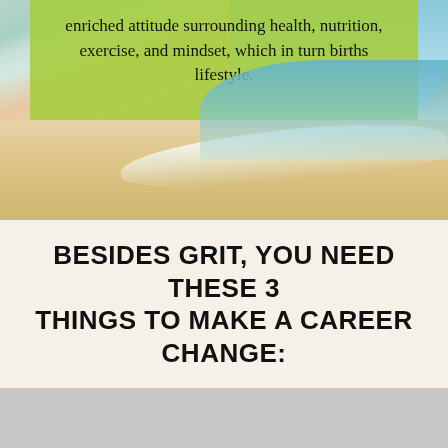[Figure (photo): Beach scene with sand, ocean waves, and sky, partially covered by a lime-green semi-transparent overlay box containing text.]
enriched attitude surrounding health, nutrition, exercise, and mindset, which in turn births lifestyle.
BESIDES GRIT, YOU NEED THESE 3 THINGS TO MAKE A CAREER CHANGE:
This site uses cookies. By continuing, you are agreeing to our privacy policy.
OK, I UNDERSTAND